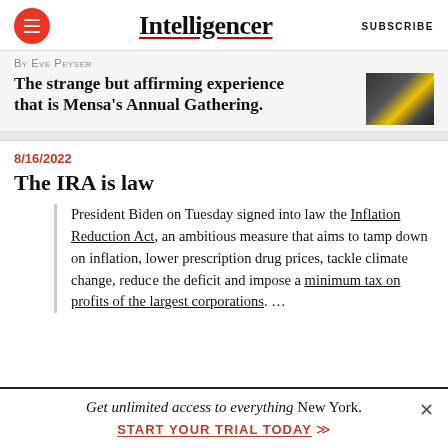Intelligencer  SUBSCRIBE
By EVE PEYSER
The strange but affirming experience that is Mensa's Annual Gathering.
8/16/2022
The IRA is law
President Biden on Tuesday signed into law the Inflation Reduction Act, an ambitious measure that aims to tamp down on inflation, lower prescription drug prices, tackle climate change, reduce the deficit and impose a minimum tax on profits of the largest corporations. ...
Get unlimited access to everything New York. START YOUR TRIAL TODAY ▶▶